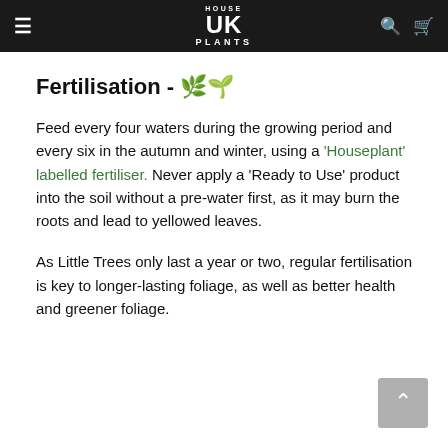House UK Plants
Fertilisation - 🌿🌱
Feed every four waters during the growing period and every six in the autumn and winter, using a 'Houseplant' labelled fertiliser. Never apply a 'Ready to Use' product into the soil without a pre-water first, as it may burn the roots and lead to yellowed leaves.
As Little Trees only last a year or two, regular fertilisation is key to longer-lasting foliage, as well as better health and greener foliage.